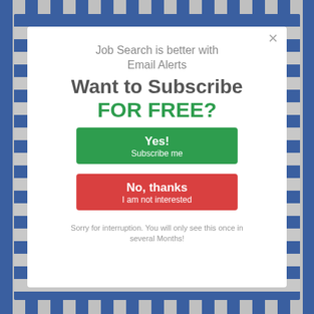Job Search is better with Email Alerts
Want to Subscribe FOR FREE?
[Figure (other): Green 'Yes! Subscribe me' button]
[Figure (other): Red 'No, thanks I am not interested' button]
Sorry for interruption. You will only see this once in several Months!